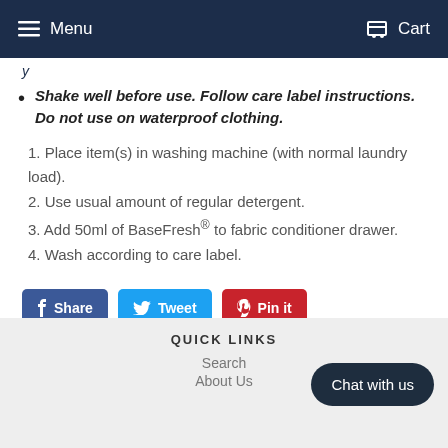Menu  Cart
y
Shake well before use. Follow care label instructions. Do not use on waterproof clothing.
1. Place item(s) in washing machine (with normal laundry load).
2. Use usual amount of regular detergent.
3. Add 50ml of BaseFresh® to fabric conditioner drawer.
4. Wash according to care label.
Share  Tweet  Pin it
QUICK LINKS
Search
About Us
Chat with us